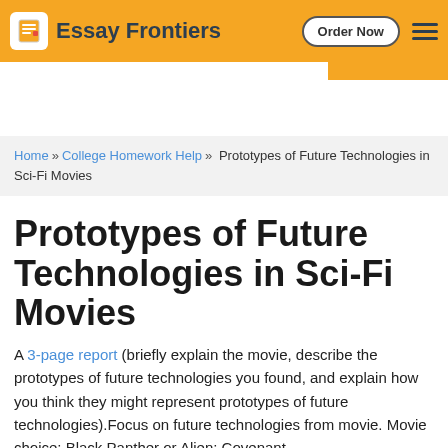Essay Frontiers | Order Now
Home » College Homework Help » Prototypes of Future Technologies in Sci-Fi Movies
Prototypes of Future Technologies in Sci-Fi Movies
A 3-page report (briefly explain the movie, describe the prototypes of future technologies you found, and explain how you think they might represent prototypes of future technologies).Focus on future technologies from movie. Movie choice: Black Panther or Alien: Covenant